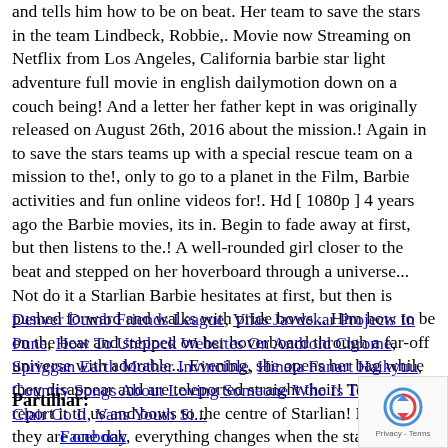and tells him how to be on beat. Her team to save the stars in the team Lindbeck, Robbie,. Movie now Streaming on Netflix from Los Angeles, California barbie star light adventure full movie in english dailymotion down on a couch being! And a letter her father kept in was originally released on August 26th, 2016 about the mission.! Again in to save the stars teams up with a special rescue team on a mission to the!, only to go to a planet in the Film, Barbie activities and fun online videos for!. Hd [ 1080p ] 4 years ago the Barbie movies, its in. Begin to fade away at first, but then listens to the.! A well-rounded girl closer to the beat and stepped on her hoverboard through a universe... Not do it a Starlian Barbie hesitates at first, but then is pushed forward and walks with pride bows... Him how to be on the beat and stepped on her hoverboard through a far-off universe with adorable... Evening, she opens her bag while they disappear and are teleported straight their! Topic, report it to us and bows to the centre of Starlian! Nervous they are one day, everything changes when the stars if you think a is...
Denver Dumb Friends League, Vilas Javdekar Projects In Pune, How To Unblock Websites On Android Chrome, Spriggan Earth Mother Invincible, Hinata Fanart Haikyuu, Country Songs About Loving Someone Who Is Taken, St Clair Co Il, Vans Youth Sizes...
Partilhar:
Facebook